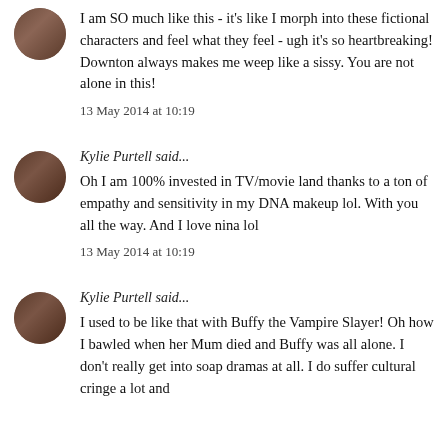I am SO much like this - it's like I morph into these fictional characters and feel what they feel - ugh it's so heartbreaking! Downton always makes me weep like a sissy. You are not alone in this!
13 May 2014 at 10:19
Kylie Purtell said...
Oh I am 100% invested in TV/movie land thanks to a ton of empathy and sensitivity in my DNA makeup lol. With you all the way. And I love nina lol
13 May 2014 at 10:19
Kylie Purtell said...
I used to be like that with Buffy the Vampire Slayer! Oh how I bawled when her Mum died and Buffy was all alone. I don't really get into soap dramas at all. I do suffer cultural cringe a lot and